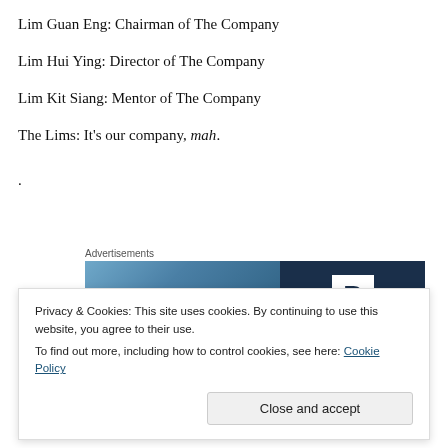Lim Guan Eng: Chairman of The Company
Lim Hui Ying: Director of The Company
Lim Kit Siang: Mentor of The Company
The Lims: It’s our company, mah.
.
[Figure (photo): Advertisement banner with an image on the left (blurred outdoor/sky scene) and a dark navy panel on the right showing a white box with the letter P in dark navy.]
Privacy & Cookies: This site uses cookies. By continuing to use this website, you agree to their use.
To find out more, including how to control cookies, see here: Cookie Policy